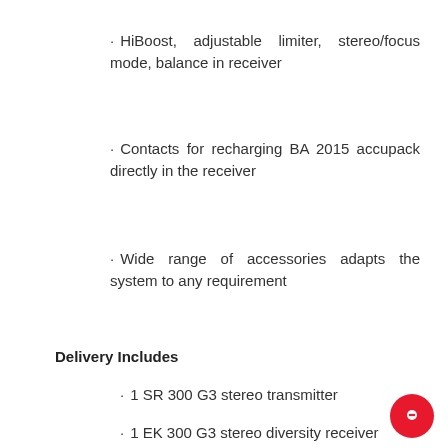HiBoost, adjustable limiter, stereo/focus mode, balance in receiver
Contacts for recharging BA 2015 accupack directly in the receiver
Wide range of accessories adapts the system to any requirement
Delivery Includes
1 SR 300 G3 stereo transmitter
1 EK 300 G3 stereo diversity receiver